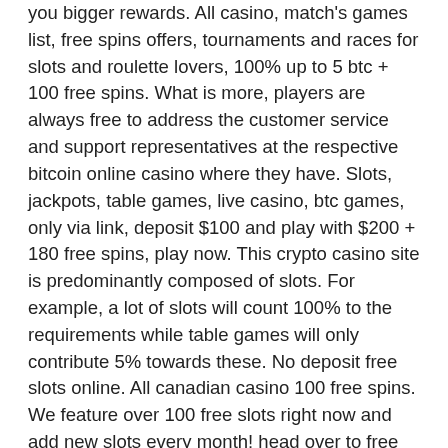you bigger rewards. All casino, match's games list, free spins offers, tournaments and races for slots and roulette lovers, 100% up to 5 btc + 100 free spins. What is more, players are always free to address the customer service and support representatives at the respective bitcoin online casino where they have. Slots, jackpots, table games, live casino, btc games, only via link, deposit $100 and play with $200 + 180 free spins, play now. This crypto casino site is predominantly composed of slots. For example, a lot of slots will count 100% to the requirements while table games will only contribute 5% towards these. No deposit free slots online. All canadian casino 100 free spins. We feature over 100 free slots right now and add new slots every month! head over to free bitcoin slots section to start playing right away. Big variety of games and big bonuses play btc slots on your mobile. 100 free spins,